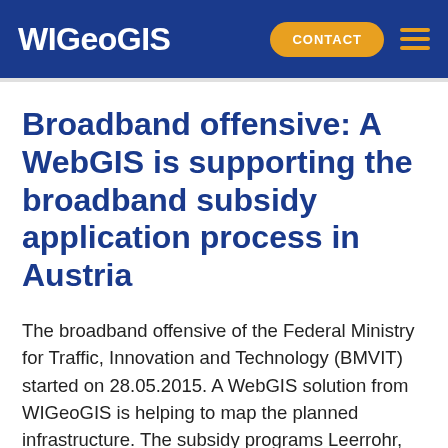WIGeoGIS
Broadband offensive: A WebGIS is supporting the broadband subsidy application process in Austria
The broadband offensive of the Federal Ministry for Traffic, Innovation and Technology (BMVIT) started on 28.05.2015. A WebGIS solution from WIGeoGIS is helping to map the planned infrastructure. The subsidy programs Leerrohr, Access, Backhaul and AT:net were drawn up within the framework of a master plan for broadband promotion. These